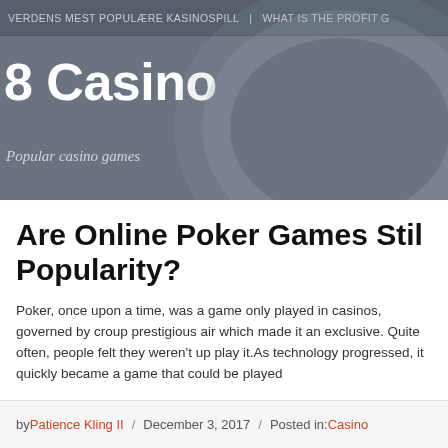VERDENS MEST POPULÆRE KASINOSPILL | WHAT IS THE PROFIT G
8 Casino
Popular casino games
Are Online Poker Games Still Popularity?
Poker, once upon a time, was a game only played in casinos, governed by croup prestigious air which made it an exclusive. Quite often, people felt they weren't up play it.As technology progressed, it quickly became a game that could be played
by Patience Kling II / December 3, 2017 / Posted in: Casino